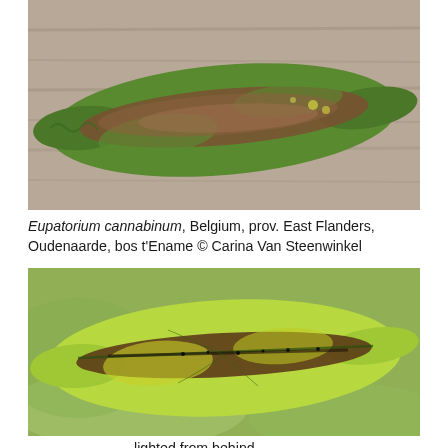[Figure (photo): Close-up photograph of a damaged Eupatorium cannabinum leaf placed on a wooden surface. The leaf shows brown, dried, and distorted tissue along its length, with some green portions remaining.]
Eupatorium cannabinum, Belgium, prov. East Flanders, Oudenaarde, bos t'Ename © Carina Van Steenwinkel
[Figure (photo): Close-up photograph of an Eupatorium cannabinum leaf lighted from behind, showing yellowed and brown damaged areas along the midrib with visible dark frass/debris, against a blurred green background.]
lighted from behind